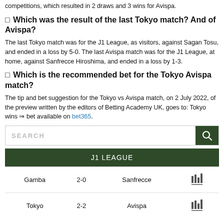competitions, which resulted in 2 draws and 3 wins for Avispa.
🟠 Which was the result of the last Tokyo match? And of Avispa?
The last Tokyo match was for the J1 League, as visitors, against Sagan Tosu, and ended in a loss by 5-0. The last Avispa match was for the J1 League, at home, against Sanfrecce Hiroshima, and ended in a loss by 1-3.
🟠 Which is the recommended bet for the Tokyo Avispa match?
The tip and bet suggestion for the Tokyo vs Avispa match, on 2 July 2022, of the preview written by the editors of Betting Academy UK, goes to: Tokyo wins ⇒ bet available on bet365.
[Figure (other): Search box with magnifying glass icon on dark green background]
| J1 LEAGUE |  |  |  |
| --- | --- | --- | --- |
| Gamba | 2-0 | Sanfrecce | 📊 |
| Tokyo | 2-2 | Avispa | 📊 |